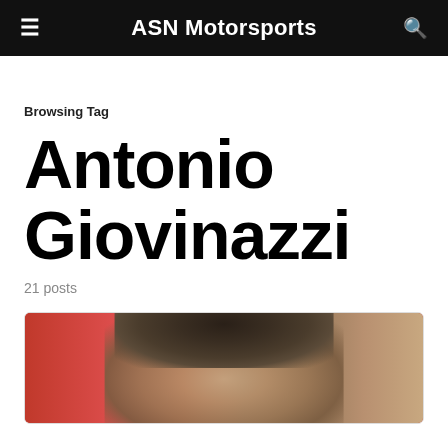ASN Motorsports
Browsing Tag
Antonio Giovinazzi
21 posts
[Figure (photo): Portrait photo of Antonio Giovinazzi with dark hair, red blurred background]